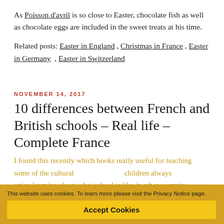As Poisson d'avril is so close to Easter, chocolate fish as well as chocolate eggs are included in the sweet treats at his time.
Related posts: Easter in England , Christmas in France , Easter in Germany , Easter in Switzerland
NOVEMBER 14, 2017
10 differences between French and British schools – Real life – Complete France
I found this recently which books really useful for teaching some of the cultural ... children always enjoy learning about what school is like in other countries.
This website uses cookies. To learn more please visit the Privacy Notice page.
Accept Cookies